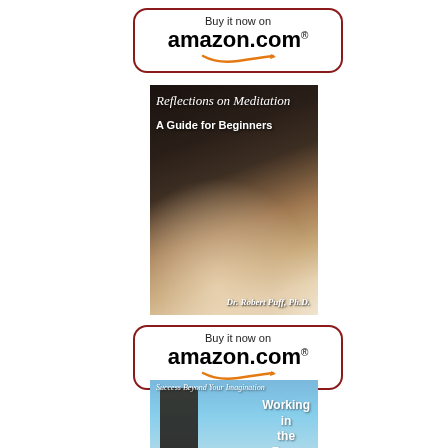[Figure (logo): Buy it now on amazon.com button with red border, top]
[Figure (photo): Book cover: 'Reflections on Meditation - A Guide for Beginners' by Dr. Robert Puff, Ph.D. with person in meditation pose]
[Figure (logo): Buy it now on amazon.com button with red border, bottom]
[Figure (photo): Book cover: 'Success Beyond Your Imagination - Working in the Zone' with man looking up]